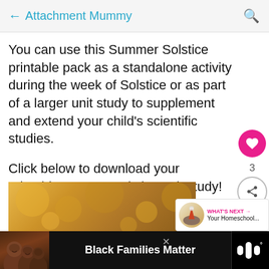← Attachment Mummy
You can use this Summer Solstice printable pack as a standalone activity during the week of Solstice or as part of a larger unit study to supplement and extend your child's scientific studies.
Click below to download your printable summer solstice unit study!
[Figure (photo): Bokeh orange/golden background photo, partially visible at bottom of content area]
[Figure (infographic): What's Next widget showing a volcano icon and text 'Your Homeschool...']
[Figure (photo): Advertisement bar at bottom: Black Families Matter with photo of smiling family, Maid logo on right]